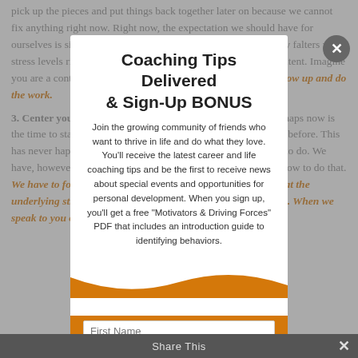pick up the pieces and put things back together later on because we cannot fix anything right now. Right now, the expectation we should have for ourselves is simply to show up and do the work. Creative energy falters when stress levels rise. Do not abandon your creative projects and content. Imagine you are a content strategist raising 3 children. This ok just to show up and do the work.
3. Center yourself. Do you have a contemplative practice? Perhaps now is the time to start. Or pick up yoga, etc. We have never been here before. This has never happened before. We are not supposed to know what to do. We have, however, taken care of ourselves before, so we do know how to do that. We have to focus on true self care right now as a way to combat the underlying stress that is attempting to steal all of our attention. When we speak to you of a position of
Coaching Tips Delivered & Sign-Up BONUS
Join the growing community of friends who want to thrive in life and do what they love. You'll receive the latest career and life coaching tips and be the first to receive news about special events and opportunities for personal development. When you sign up, you'll get a free "Motivators & Driving Forces" PDF that includes an introduction guide to identifying behaviors.
First Name
Share This